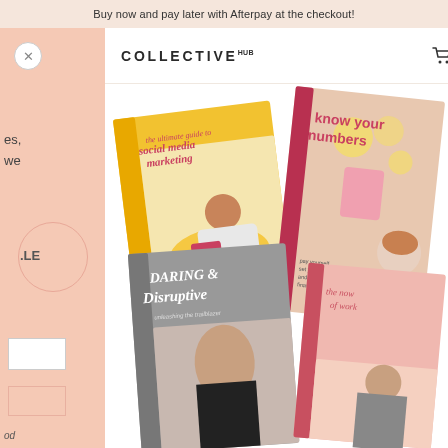Buy now and pay later with Afterpay at the checkout!
[Figure (photo): E-commerce website screenshot showing a Collective Hub branded store with a navigation header, sidebar overlay panel, and product image featuring multiple book covers: 'the ultimate guide to social media marketing', 'know your numbers', 'Daring & Disruptive: unleashing the trailblazer in you', and 'the now of work']
es,
we
.LE
od
COLLECTIVE HUB
0